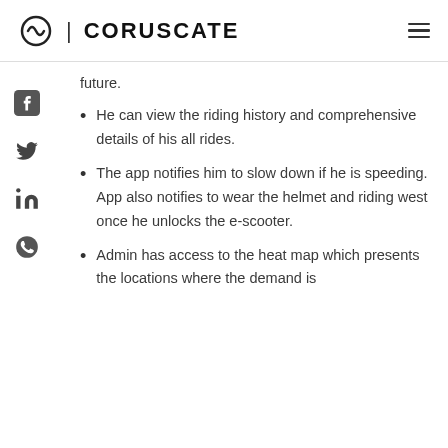CORUSCATE
future.
He can view the riding history and comprehensive details of his all rides.
The app notifies him to slow down if he is speeding. App also notifies to wear the helmet and riding west once he unlocks the e-scooter.
Admin has access to the heat map which presents the locations where the demand is